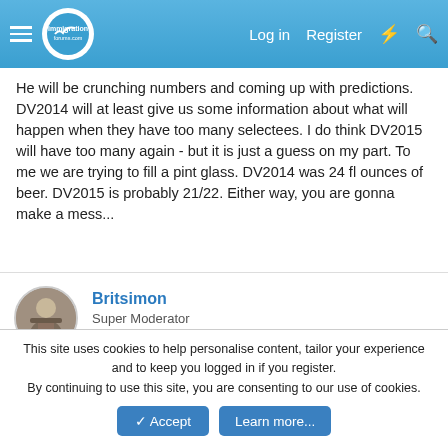immigration forums nav bar with Log in, Register links
He will be crunching numbers and coming up with predictions. DV2014 will at least give us some information about what will happen when they have too many selectees. I do think DV2015 will have too many again - but it is just a guess on my part. To me we are trying to fill a pint glass. DV2014 was 24 fl ounces of beer. DV2015 is probably 21/22. Either way, you are gonna make a mess...
Britsimon
Super Moderator
Jul 9, 2014   #1,490
guestgulkan said:
This site uses cookies to help personalise content, tailor your experience and to keep you logged in if you register.
By continuing to use this site, you are consenting to our use of cookies.